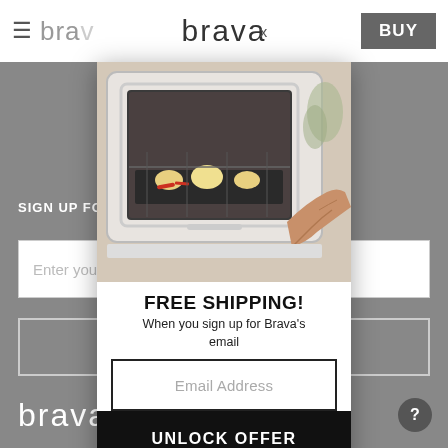brava   brava   x   BUY
[Figure (screenshot): Screenshot of a Brava oven web page with a modal popup offering free shipping when signing up for Brava's email. Background shows gray page with sign up form. Foreground modal shows oven with food being placed inside, text 'FREE SHIPPING! When you sign up for Brava's email', an email address input field, and an UNLOCK OFFER button.]
FREE SHIPPING!
When you sign up for Brava's email
Email Address
UNLOCK OFFER
SIGN UP FOR B
Enter your
brava